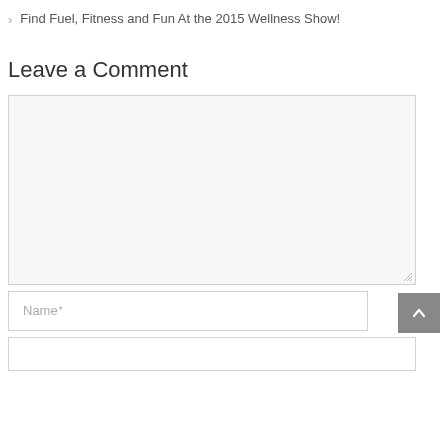> Find Fuel, Fitness and Fun At the 2015 Wellness Show!
Leave a Comment
[Comment text area]
Name *
[Email input field]